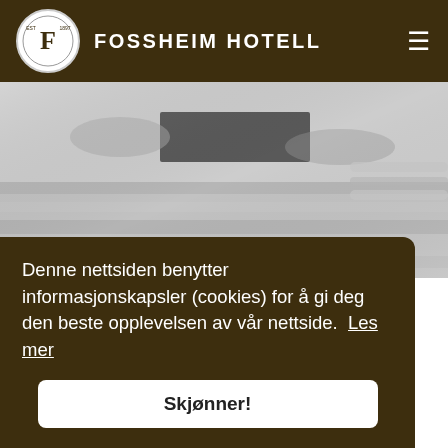FOSSHEIM HOTELL
[Figure (photo): Black and white photo of hands working with wooden planks, close-up view of carpentry or roof laying work.]
Dr. Garmos institute; Bar with scene and dance floor
Possibilities for workout in Utgard gym
Several hiking tracks close to the hotel
Denne nettsiden benytter informasjonskapsler (cookies) for å gi deg den beste opplevelsen av vår nettside. Les mer
Skjønner!